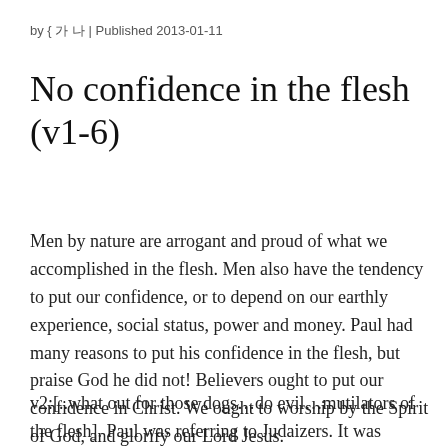by 이 현 | Published 2013-01-11
No confidence in the flesh (v1-6)
Men by nature are arrogant and proud of what we accomplished in the flesh. Men also have the tendency to put our confidence, or to depend on our earthly experience, social status, power and money. Paul had many reasons to put his confidence in the flesh, but praise God he did not! Believers ought to put our confidence in Christ. We ought to worship by the Spirit of God, and glorify our Lord Jesus.
v2:[..what out for those dogs…do evil…mutilators of the flesh]. Paul was referring to Judaizers. It was common for